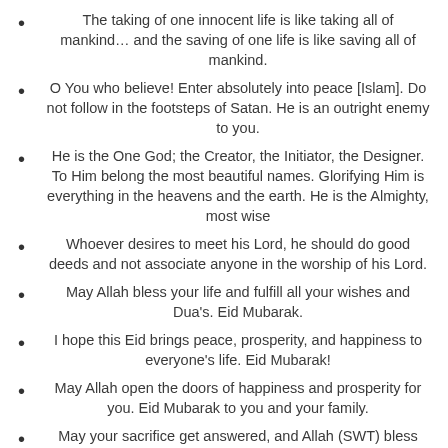The taking of one innocent life is like taking all of mankind… and the saving of one life is like saving all of mankind.
O You who believe! Enter absolutely into peace [Islam]. Do not follow in the footsteps of Satan. He is an outright enemy to you.
He is the One God; the Creator, the Initiator, the Designer. To Him belong the most beautiful names. Glorifying Him is everything in the heavens and the earth. He is the Almighty, most wise
Whoever desires to meet his Lord, he should do good deeds and not associate anyone in the worship of his Lord.
May Allah bless your life and fulfill all your wishes and Dua's. Eid Mubarak.
I hope this Eid brings peace, prosperity, and happiness to everyone's life. Eid Mubarak!
May Allah open the doors of happiness and prosperity for you. Eid Mubarak to you and your family.
May your sacrifice get answered, and Allah (SWT) bless you with his uncountable blessings! Eid Ul Adha Mubarak!